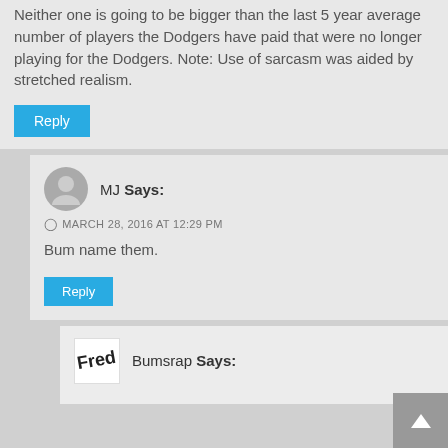Neither one is going to be bigger than the last 5 year average number of players the Dodgers have paid that were no longer playing for the Dodgers. Note: Use of sarcasm was aided by stretched realism.
Reply
MJ Says:
MARCH 28, 2016 AT 12:29 PM
Bum name them.
Reply
Bumsrap Says: